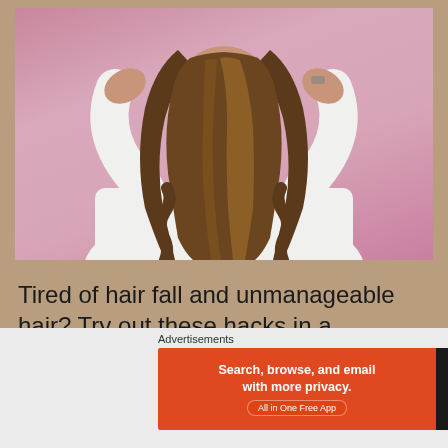[Figure (photo): Person with long wavy brown highlighted hair, wearing a white long-sleeve top, viewed from behind with hands on head, against a pink background]
Tired of hair fall and unmanageable hair? Try out these hacks in a consistent way to achieve great results
Advertisements
[Figure (screenshot): DuckDuckGo advertisement banner: orange/red left section reads 'Search, browse, and email with more privacy. All in One Free App'; dark right section shows DuckDuckGo duck logo and brand name]